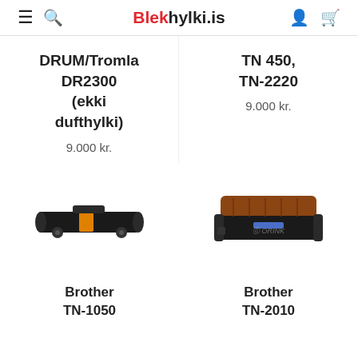Blekhylki.is
DRUM/Tromla DR2300 (ekki dufthylki)
9.000 kr.
TN 450, TN-2220
9.000 kr.
[Figure (photo): Brother TN-1050 drum unit / toner cartridge, black elongated unit with orange stripe]
Brother TN-1050
[Figure (photo): Brother TN-2010 black toner cartridge with brown/orange top section and ORINK watermark]
Brother TN-2010